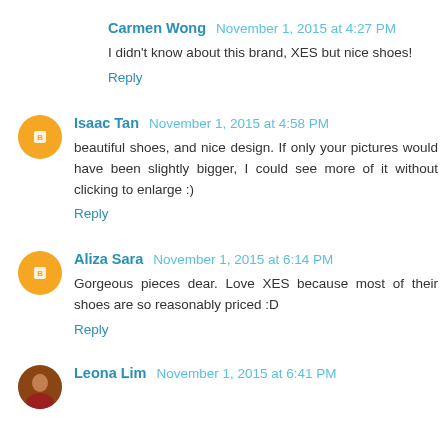Carmen Wong  November 1, 2015 at 4:27 PM
I didn't know about this brand, XES but nice shoes!
Reply
Isaac Tan  November 1, 2015 at 4:58 PM
beautiful shoes, and nice design. If only your pictures would have been slightly bigger, I could see more of it without clicking to enlarge :)
Reply
Aliza Sara  November 1, 2015 at 6:14 PM
Gorgeous pieces dear. Love XES because most of their shoes are so reasonably priced :D
Reply
Leona Lim  November 1, 2015 at 6:41 PM